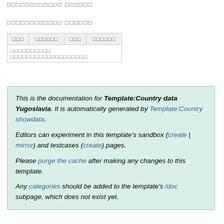[garbled unicode text]
[garbled unicode text]
| [box] | [box] | [box] | [box] |
| --- | --- | --- | --- |
| [garbled text spanning row] |
This is the documentation for Template:Country data Yugoslavia. It is automatically generated by Template:Country showdata. Editors can experiment in this template's sandbox (create | mirror) and testcases (create) pages. Please purge the cache after making any changes to this template. Any categories should be added to the template's /doc subpage, which does not exist yet.